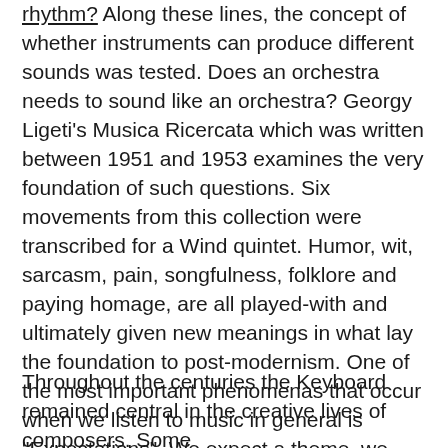rhythm? Along these lines, the concept of whether instruments can produce different sounds was tested. Does an orchestra needs to sound like an orchestra? Georgy Ligeti's Musica Ricercata which was written between 1951 and 1953 examines the very foundation of such questions. Six movements from this collection were transcribed for a Wind quintet. Humor, wit, sarcasm, pain, songfulness, folklore and paying homage, are all played-with and ultimately given new meanings in what lay the foundation to post-modernism. One of the most important phenomenas that occur when we listen to music in general is "Expectations". We expect a theme, we expect to feel, we expect to resolve tensions, we expect certain sounds. The idea of "expectations" is being put to the test and shaken to the core in this fascinating piece by Ligeti.
Throughout the centuries the Keyboard remained central in the creative lives of composers. Some